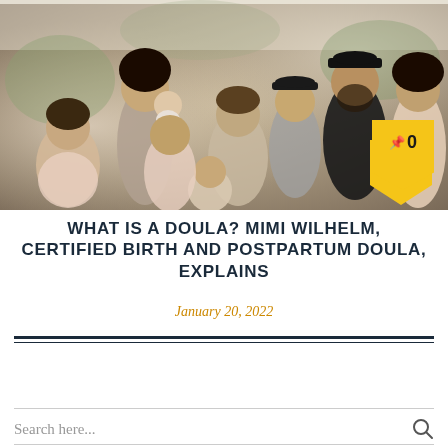[Figure (photo): Group photo of a large family with adults and children, smiling and celebrating at what appears to be an outdoor event or wedding. People are dressed in formal and semi-formal attire.]
WHAT IS A DOULA? MIMI WILHELM, CERTIFIED BIRTH AND POSTPARTUM DOULA, EXPLAINS
January 20, 2022
Search here...